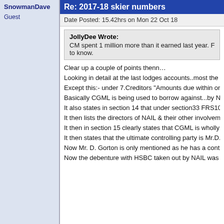SnowmanDave
Guest
Re: 2017-18 skier numbers
Date Posted: 15.42hrs on Mon 22 Oct 18
JollyDee Wrote: CM spent 1 million more than it earned last year. Foll to know.
Clear up a couple of points thenn…
Looking in detail at the last lodges accounts..most the in &
Except this:- under 7.Creditors "Amounts due within one y
Basically CGML is being used to borrow against...by NAIL
It also states in section 14 that under section33 FRS102 t
It then lists the directors of NAIL & their other involvement
It then in section 15 clearly states that CGML is wholly ow
It then states that the ultimate controlling party is Mr.D. Go
Now Mr. D. Gorton is only mentioned as he has a controll
Now the debenture with HSBC taken out by NAIL was sig